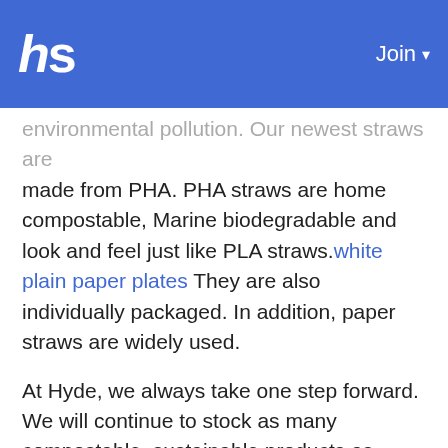hs | Join ▾
environmental pollution. Our newest straws are made from PHA. PHA straws are home compostable, Marine biodegradable and look and feel just like PLA straws. white plain paper plates They are also individually packaged. In addition, paper straws are widely used.
At Hyde, we always take one step forward. We will continue to stock as many compostable, sustainable products as possible while maintaining a high level of service. 16oz sugarcane bowl with lid We will also keep you, our valued customer, informed of market conditions so that you can continue to serve your customers with the best environmentally friendly products. However, if you are not born to design anything,